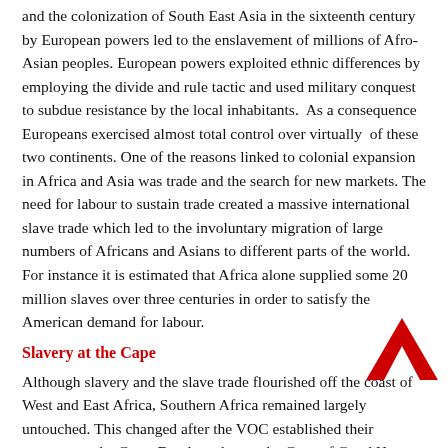and the colonization of South East Asia in the sixteenth century by European powers led to the enslavement of millions of Afro-Asian peoples. European powers exploited ethnic differences by employing the divide and rule tactic and used military conquest to subdue resistance by the local inhabitants. As a consequence Europeans exercised almost total control over virtually of these two continents. One of the reasons linked to colonial expansion in Africa and Asia was trade and the search for new markets. The need for labour to sustain trade created a massive international slave trade which led to the involuntary migration of large numbers of Africans and Asians to different parts of the world. For instance it is estimated that Africa alone supplied some 20 million slaves over three centuries in order to satisfy the American demand for labour.
Slavery at the Cape
Although slavery and the slave trade flourished off the coast of West and East Africa, Southern Africa remained largely untouched. This changed after the VOC established their presence at the Cape. Dutch settlers at the Cape of Good Hope arrived in 1652 when Jan van Riebeeck came to the Cape to establish a trading post and supply fort for trading vessels plying
[Figure (illustration): Red chevron/arrow pointing upward-right, decorative navigation element in bottom-right area]